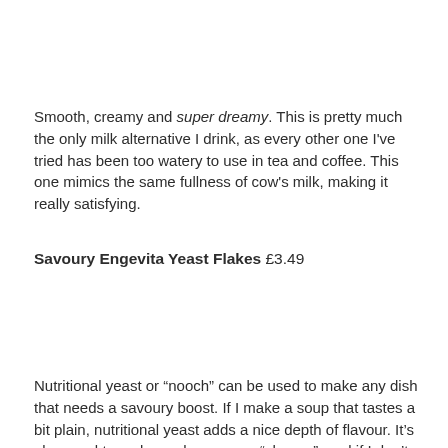Smooth, creamy and super dreamy. This is pretty much the only milk alternative I drink, as every other one I've tried has been too watery to use in tea and coffee. This one mimics the same fullness of cow's milk, making it really satisfying.
Savoury Engevita Yeast Flakes £3.49
Nutritional yeast or “nooch” can be used to make any dish that needs a savoury boost. If I make a soup that tastes a bit plain, nutritional yeast adds a nice depth of flavour. It’s also used to make cashew vegan “cheese”, and if I don’t fancy using Violife